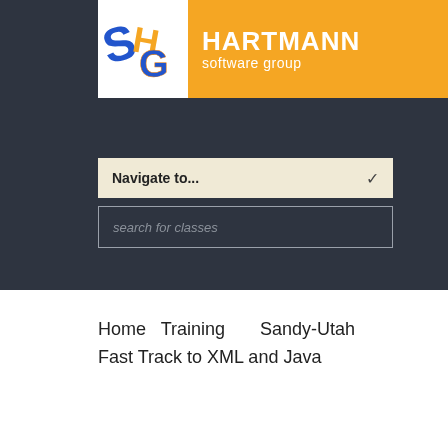[Figure (logo): Hartmann Software Group logo with stylized S, H, G letters in blue, orange and yellow on white background, beside orange rectangle with white text HARTMANN software group]
Navigate to...
search for classes
Home   Training       Sandy-Utah   Fast Track to XML and Java